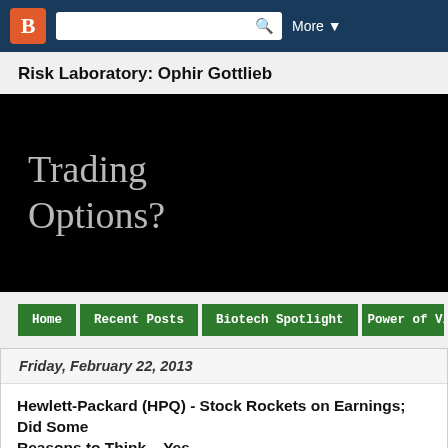Blogger navigation bar with search and More button
Risk Laboratory: Ophir Gottlieb
[Figure (screenshot): Blog banner with black background showing text 'Trading Options?']
Home | Recent Posts | Biotech Spotlight | Power of Visu...
Friday, February 22, 2013
Hewlett-Packard (HPQ) - Stock Rockets on Earnings; Did Some... Reasons to Think... Yes...
HPQ is trading $19.47, up 13.9% off of earnings with IV30™ down 29.8%. The
[Figure (photo): Small broken image placeholder icon]